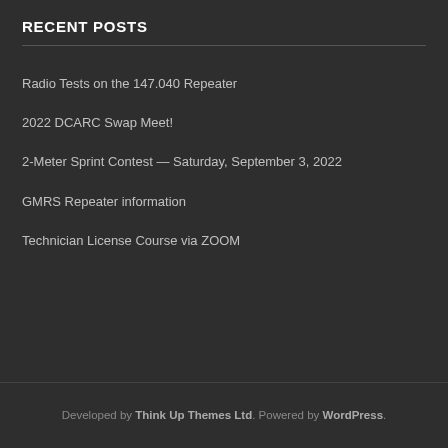RECENT POSTS
Radio Tests on the 147.040 Repeater
2022 DCARC Swap Meet!
2-Meter Sprint Contest — Saturday, September 3, 2022
GMRS Repeater information
Technician License Course via ZOOM
Developed by Think Up Themes Ltd. Powered by WordPress.